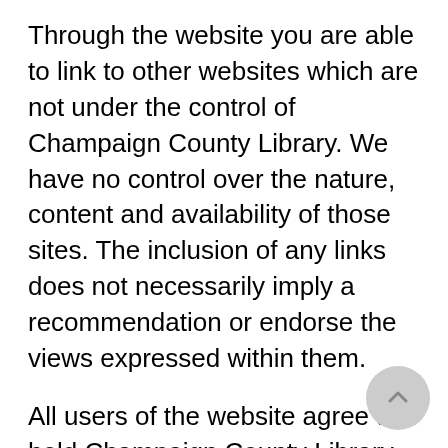Through the website you are able to link to other websites which are not under the control of Champaign County Library. We have no control over the nature, content and availability of those sites. The inclusion of any links does not necessarily imply a recommendation or endorse the views expressed within them.
All users of the website agree to hold Champaign County Library harmless from any and all claims, losses, damages, obligations or liabilities, directly or indirectly relating to the website and/or the networked information available via the website, caused thereby or arising therefrom. In no event shall Champaign County Library have any liability for lost profits